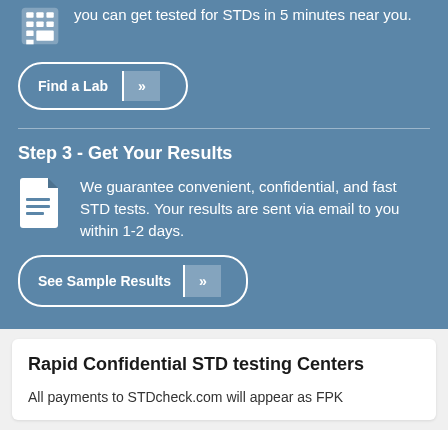you can get tested for STDs in 5 minutes near you.
Find a Lab »
Step 3 - Get Your Results
We guarantee convenient, confidential, and fast STD tests. Your results are sent via email to you within 1-2 days.
See Sample Results »
Rapid Confidential STD testing Centers
All payments to STDcheck.com will appear as FPK